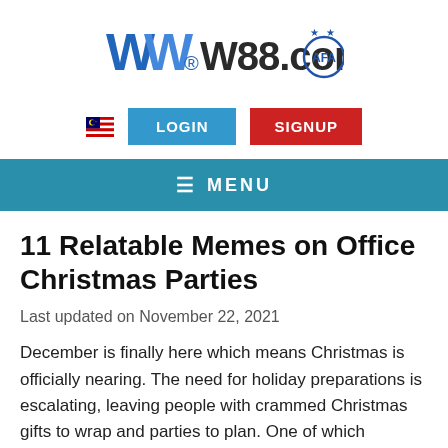[Figure (logo): W88.com logo with stylized W and AFA badge]
[Figure (infographic): Malaysian flag icon, LOGIN button (blue), SIGNUP button (red)]
MENU
11 Relatable Memes on Office Christmas Parties
Last updated on November 22, 2021
December is finally here which means Christmas is officially nearing. The need for holiday preparations is escalating, leaving people with crammed Christmas gifts to wrap and parties to plan. One of which includes company and office Christmas parties in all